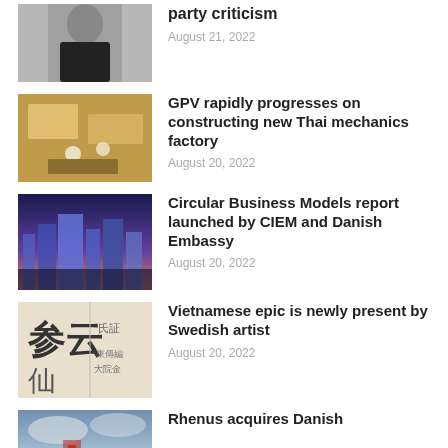[Figure (photo): Woman in black dress standing against a building wall]
party criticism
August 21, 2022
[Figure (photo): Aerial view of construction site with workers]
GPV rapidly progresses on constructing new Thai mechanics factory
August 20, 2022
[Figure (photo): City skyline at dusk with purple-lit buildings]
Circular Business Models report launched by CIEM and Danish Embassy
August 20, 2022
[Figure (photo): Chinese characters on paper or sign]
Vietnamese epic is newly present by Swedish artist
August 20, 2022
[Figure (photo): Partial news thumbnail with cloudy sky]
Rhenus acquires Danish